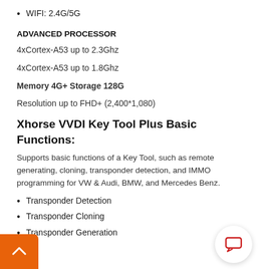WIFI: 2.4G/5G
ADVANCED PROCESSOR
4xCortex-A53 up to 2.3Ghz
4xCortex-A53 up to 1.8Ghz
Memory 4G+ Storage 128G
Resolution up to FHD+ (2,400*1,080)
Xhorse VVDI Key Tool Plus Basic Functions:
Supports basic functions of a Key Tool, such as remote generating, cloning, transponder detection, and IMMO programming for VW & Audi, BMW, and Mercedes Benz.
Transponder Detection
Transponder Cloning
Transponder Generation